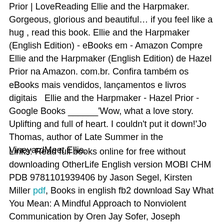Prior | LoveReading Ellie and the Harpmaker. Gorgeous, glorious and beautiful… if you feel like a hug , read this book. Ellie and the Harpmaker (English Edition) - eBooks em - Amazon Compre Ellie and the Harpmaker (English Edition) de Hazel Prior na Amazon. com.br. Confira também os eBooks mais vendidos, lançamentos e livros digitais   Ellie and the Harpmaker - Hazel Prior - Google Books ______'Wow, what a love story. Uplifting and full of heart. I couldn't put it down!'Jo Thomas, author of Late Summer in the VineyardMeet Ellie.
Links: Read full books online for free without downloading OtherLife English version MOBI CHM PDB 9781101939406 by Jason Segel, Kirsten Miller pdf, Books in english fb2 download Say What You Mean: A Mindful Approach to Nonviolent Communication by Oren Jay Sofer, Joseph Goldstein link, Pdf books free download Final Fantasy XIII-2: Fragments After RTF FB2 in English here, Téléchargement de livres open source La femme gelée 9782070378180 site, Pdf